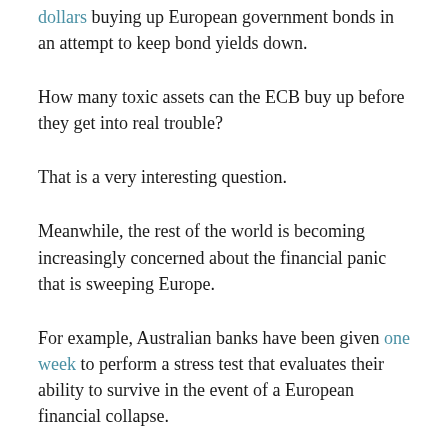dollars buying up European government bonds in an attempt to keep bond yields down.
How many toxic assets can the ECB buy up before they get into real trouble?
That is a very interesting question.
Meanwhile, the rest of the world is becoming increasingly concerned about the financial panic that is sweeping Europe.
For example, Australian banks have been given one week to perform a stress test that evaluates their ability to survive in the event of a European financial collapse.
Why all the urgency?